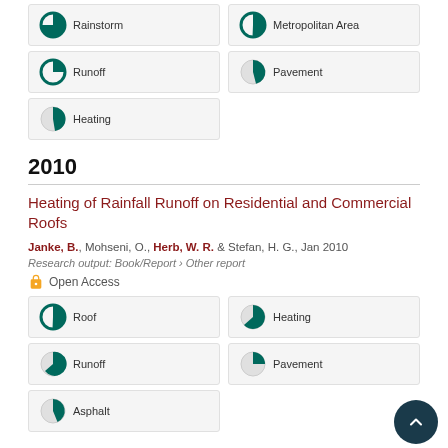100% Rainstorm
92% Metropolitan Area
51% Runoff
18% Pavement
13% Heating
2010
Heating of Rainfall Runoff on Residential and Commercial Roofs
Janke, B., Mohseni, O., Herb, W. R. & Stefan, H. G., Jan 2010
Research output: Book/Report › Other report
Open Access
100% Roof
85% Heating
80% Runoff
55% Pavement
28% Asphalt